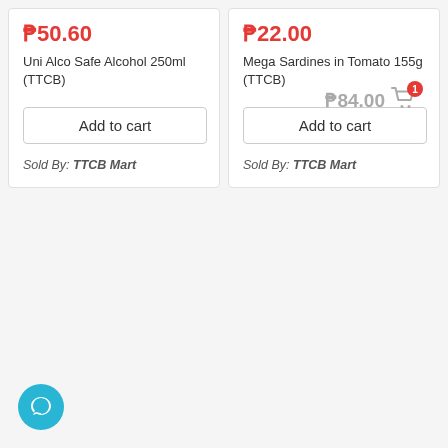₱50.60
Uni Alco Safe Alcohol 250ml (TTCB)
Add to cart
Sold By: TTCB Mart
₱22.00
Mega Sardines in Tomato 155g (TTCB)
₱84.00
Add to cart
Sold By: TTCB Mart